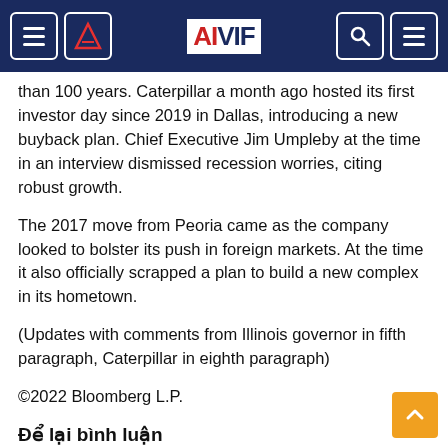AIVIF
than 100 years. Caterpillar a month ago hosted its first investor day since 2019 in Dallas, introducing a new buyback plan. Chief Executive Jim Umpleby at the time in an interview dismissed recession worries, citing robust growth.
The 2017 move from Peoria came as the company looked to bolster its push in foreign markets. At the time it also officially scrapped a plan to build a new complex in its hometown.
(Updates with comments from Illinois governor in fifth paragraph, Caterpillar in eighth paragraph)
©2022 Bloomberg L.P.
Để lại bình luận
Tiêu đề